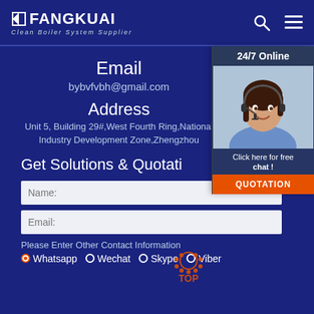FANGKUAI Clean Boiler System Supplier
Email
bybvfvbh@gmail.com
Address
Unit 5, Building 29#,West Fourth Ring,National Industry Development Zone,Zhengzhou
Get Solutions & Quotation
[Figure (photo): Customer service representative wearing headset, smiling. Overlay with '24/7 Online', 'Click here for free chat!' and QUOTATION button.]
Name:
Email:
Please Enter Other Contact Information
Whatsapp
Wechat
Skype
Viber